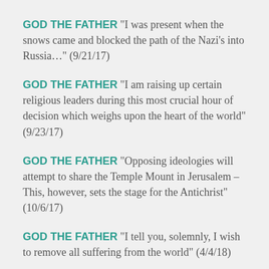GOD THE FATHER “I was present when the snows came and blocked the path of the Nazi’s into Russia…” (9/21/17)
GOD THE FATHER “I am raising up certain religious leaders during this most crucial hour of decision which weighs upon the heart of the world” (9/23/17)
GOD THE FATHER “Opposing ideologies will attempt to share the Temple Mount in Jerusalem – This, however, sets the stage for the Antichrist” (10/6/17)
GOD THE FATHER “I tell you, solemnly, I wish to remove all suffering from the world” (4/4/18)
GOD THE FATHER “I will not let your nation (USA) be